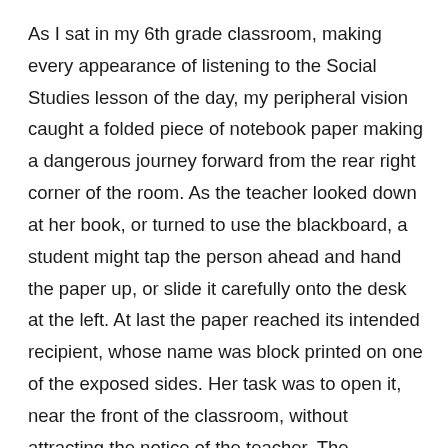As I sat in my 6th grade classroom, making every appearance of listening to the Social Studies lesson of the day, my peripheral vision caught a folded piece of notebook paper making a dangerous journey forward from the rear right corner of the room. As the teacher looked down at her book, or turned to use the blackboard, a student might tap the person ahead and hand the paper up, or slide it carefully onto the desk at the left. At last the paper reached its intended recipient, whose name was block printed on one of the exposed sides. Her task was to open it, near the front of the classroom, without attracting the notice of the teacher. The message had to reach her during class, or she would pass into the halls and on to her next class without the urgent information in the note.
By ninth grade, I regularly carried messages (usually just